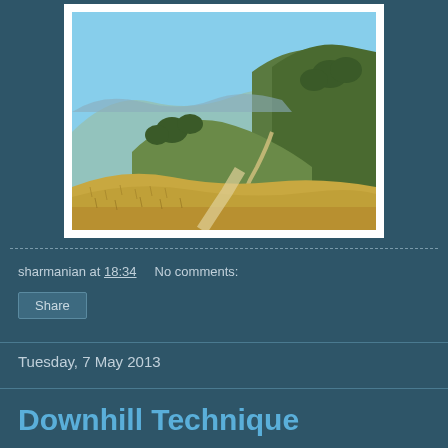[Figure (photo): Outdoor landscape photo showing rolling hills with dry golden grass in the foreground, green tree-covered hills in the midground, and a blue sky with distant mountains in the background. A dirt path winds through the hills.]
sharmanian at 18:34    No comments:
Share
Tuesday, 7 May 2013
Downhill Technique